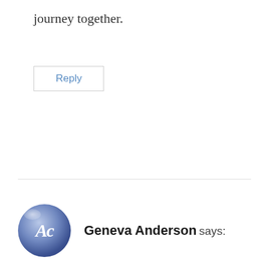journey together.
Reply
Geneva Anderson says:
[Figure (illustration): Circular avatar with blue/purple gradient background and white stylized 'AC' monogram text]
Thank you for your devotion, your blog, and video. God used you to remind me that No I'm not perfect and quit beating myself up. I just told my mother in law